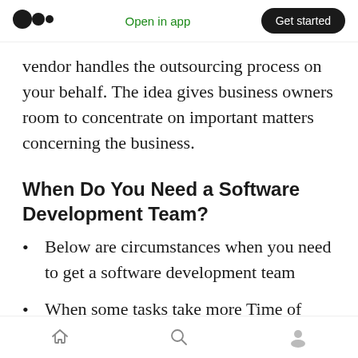Medium logo | Open in app | Get started
vendor handles the outsourcing process on your behalf. The idea gives business owners room to concentrate on important matters concerning the business.
When Do You Need a Software Development Team?
Below are circumstances when you need to get a software development team
When some tasks take more Time of your professional team
There are also...
Home | Search | Profile